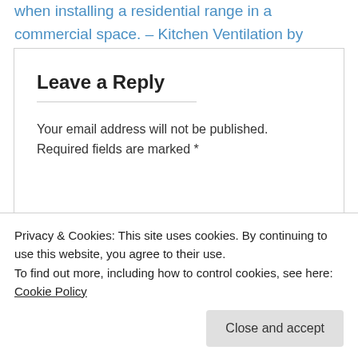when installing a residential range in a commercial space. – Kitchen Ventilation by Halton
Leave a Reply
Your email address will not be published. Required fields are marked *
Comment
Privacy & Cookies: This site uses cookies. By continuing to use this website, you agree to their use.
To find out more, including how to control cookies, see here: Cookie Policy
Close and accept